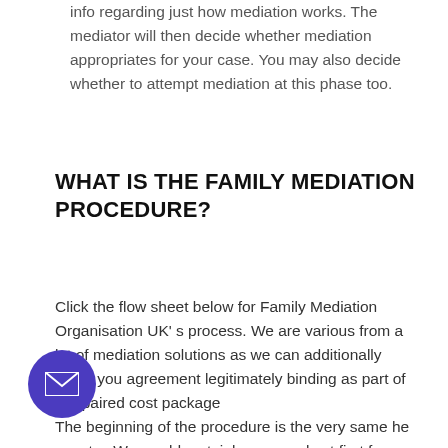info regarding just how mediation works. The mediator will then decide whether mediation appropriates for your case. You may also decide whether to attempt mediation at this phase too.
WHAT IS THE FAMILY MEDIATION PROCEDURE?
Click the flow sheet below for Family Mediation Organisation UK' s process. We are various from a lot of mediation solutions as we can additionally make you agreement legitimately binding as part of a repaired cost package
The beginning of the procedure is the very same he country. We would certainly see you ly at first for your MIAM and also then prepare a plan for your joint mediation meetings. We would
[Figure (other): Purple circular email/contact button with white envelope icon in bottom-left area of page]